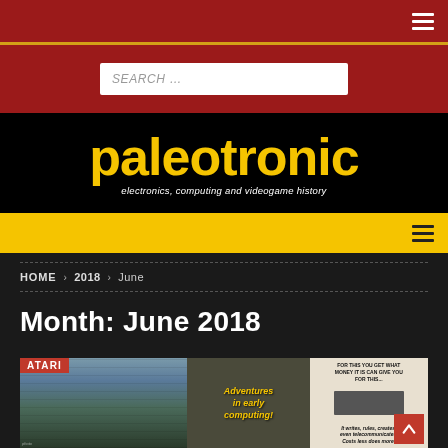[Figure (screenshot): Search bar on dark red background]
[Figure (logo): Paleotronic logo — yellow text on black: 'paleotronic' with subtitle 'electronics, computing and videogame history']
Navigation bar (yellow background with hamburger menu)
HOME › 2018 › June
Month: June 2018
[Figure (photo): Article preview image showing vintage computing content with ATARI badge, early computing collage, and a typewriter advertisement]